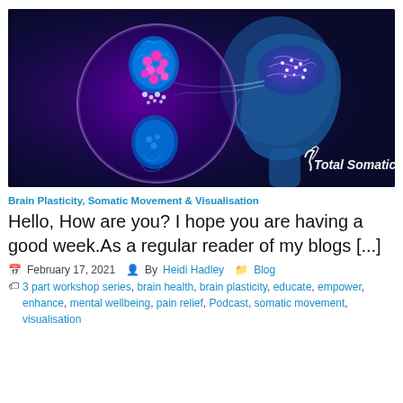[Figure (illustration): Medical illustration showing a human head in profile view with a glowing brain, and a magnified circle showing a synapse with pink neurotransmitter vesicles releasing between two neural cells. Blue tones with purple highlights. Total Somatics logo in lower right.]
Brain Plasticity, Somatic Movement & Visualisation
Hello, How are you? I hope you are having a good week.As a regular reader of my blogs [...]
February 17, 2021  By Heidi Hadley  Blog
3 part workshop series, brain health, brain plasticity, educate, empower, enhance, mental wellbeing, pain relief, Podcast, somatic movement, visualisation